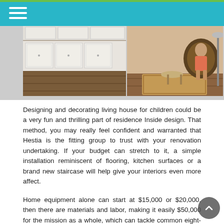[Figure (photo): Two interior home photos side by side: left shows white kitchen cabinetry with dark wood floor, right shows a seated person in a wicker chair with a small stool and rug on hardwood floor.]
Designing and decorating living house for children could be a very fun and thrilling part of residence Inside design. That method, you may really feel confident and warranted that Hestia is the fitting group to trust with your renovation undertaking. If your budget can stretch to it, a simple installation reminiscent of flooring, kitchen surfaces or a brand new staircase will help give your interiors even more affect.
Home equipment alone can start at $15,000 or $20,000, then there are materials and labor, making it easily $50,000 for the mission as a whole, which can tackle common eight-12 weeks in response to On reality TELEVISION, it's common to hear of a $10,000 budget and per week for a complete kitchen rework.